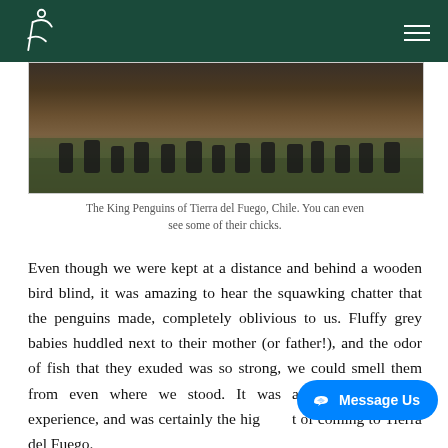Navigation header with logo and menu
[Figure (photo): King Penguins of Tierra del Fuego, Chile, photographed from behind a wooden bird blind. Penguins and chicks visible among grassy terrain.]
The King Penguins of Tierra del Fuego, Chile. You can even see some of their chicks.
Even though we were kept at a distance and behind a wooden bird blind, it was amazing to hear the squawking chatter that the penguins made, completely oblivious to us. Fluffy grey babies huddled next to their mother (or father!), and the odor of fish that they exuded was so strong, we could smell them from even where we stood. It was a once-in-a-lifetime experience, and was certainly the highlight of coming to Tierra del Fuego.